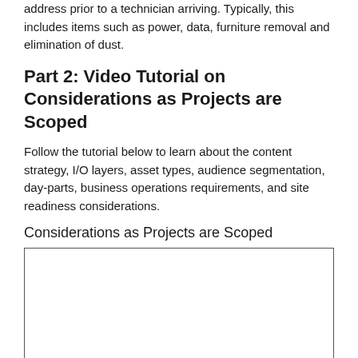address prior to a technician arriving. Typically, this includes items such as power, data, furniture removal and elimination of dust.
Part 2: Video Tutorial on Considerations as Projects are Scoped
Follow the tutorial below to learn about the content strategy, I/O layers, asset types, audience segmentation, day-parts, business operations requirements, and site readiness considerations.
Considerations as Projects are Scoped
[Figure (other): Empty white video embed box with a thin border]